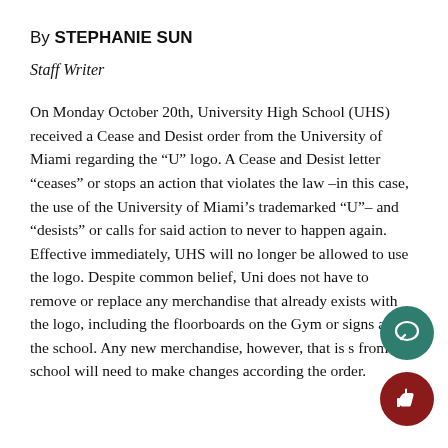By STEPHANIE SUN
Staff Writer
On Monday October 20th, University High School (UHS) received a Cease and Desist order from the University of Miami regarding the “U” logo. A Cease and Desist letter “ceases” or stops an action that violates the law –in this case, the use of the University of Miami’s trademarked “U”– and “desists” or calls for said action to never to happen again. Effective immediately, UHS will no longer be allowed to use the logo. Despite common belief, Uni does not have to remove or replace any merchandise that already exists with the logo, including the floorboards on the Gym or signs around the school. Any new merchandise, however, that is sold from the school will need to make changes according to the order.